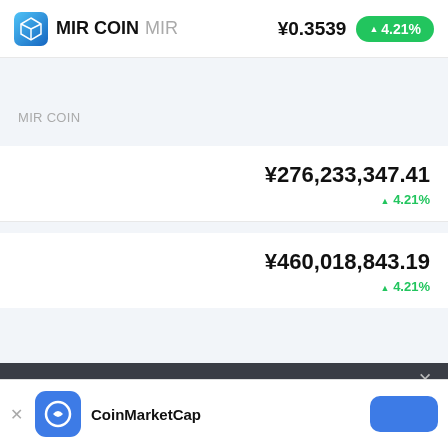MIR COIN MIR   ¥0.3539   ▲4.21%
MIR COIN
¥276,233,347.41
▲ 4.21%
¥460,018,843.19
▲ 4.21%
[Figure (screenshot): Dark overlay section of a mobile app screen]
CoinMarketCap